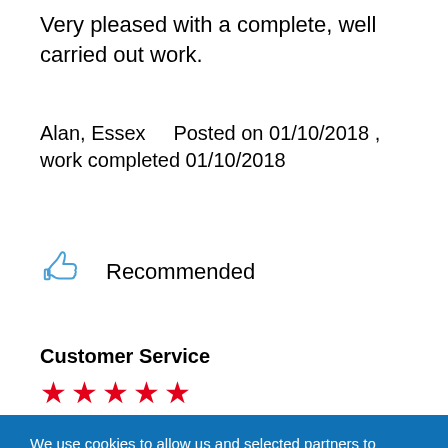Very pleased with a complete, well carried out work.
Alan, Essex    Posted on 01/10/2018 , work completed 01/10/2018
Recommended
Customer Service
[Figure (other): Five red star rating icons]
We use cookies to allow us and selected partners to improve your experience and our advertising. By continuing to browse you consent to our use of cookies. You can understand more and change your cookies preferences here.
OK